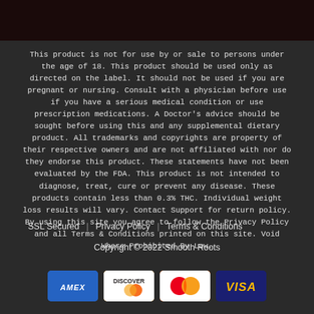This product is not for use by or sale to persons under the age of 18. This product should be used only as directed on the label. It should not be used if you are pregnant or nursing. Consult with a physician before use if you have a serious medical condition or use prescription medications. A Doctor's advice should be sought before using this and any supplemental dietary product. All trademarks and copyrights are property of their respective owners and are not affiliated with nor do they endorse this product. These statements have not been evaluated by the FDA. This product is not intended to diagnose, treat, cure or prevent any disease. These products contain less than 0.3% THC. Individual weight loss results will vary. Contact Support for return policy. By using this site you agree to follow the Privacy Policy and all Terms & Conditions printed on this site. Void Where Prohibited By Law.
SSL Secured | Privacy Policy | Terms & Conditions
Copyright © 2022 Smooth Roots
[Figure (other): Payment method icons: American Express (AMEX), Discover, Mastercard, Visa]